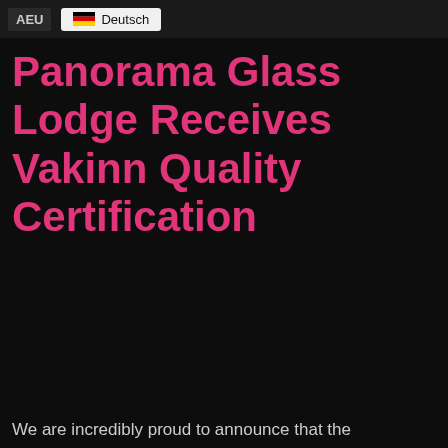AEU Deutsch
Panorama Glass Lodge Receives Vakinn Quality Certification
We are incredibly proud to announce that the